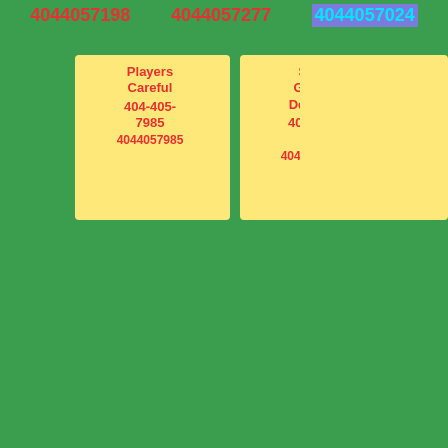4044057198   4044057277   4044057024
Players Careful 404-405-7985 4044057985
Shes Grown Dedalus 404-405-7395 4044057395
Drafts Ruined Vol 404-405-7560 4044057560
Figuration Diggles Glaring 404-405-7225 4044057225
Shadowy Heart Pair 404-405-7555 4044057555
Creak 404-405-7707 4044057707
Dear Live 404-405-7302 4044057302
Hard 404-405-7850 4044057850
Softly 404-405-7421 4044057421